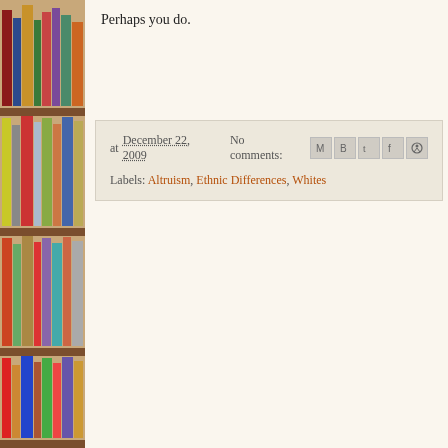Perhaps you do.
at December 22, 2009   No comments:  [share icons]  Labels: Altruism, Ethnic Differences, Whites